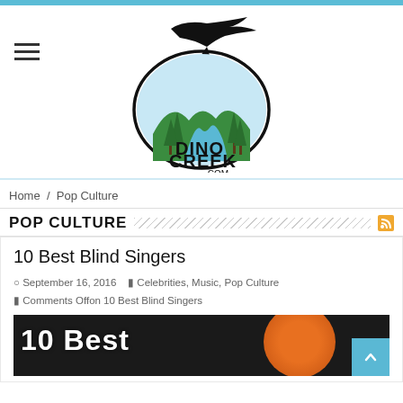[Figure (logo): Dino Creek .com logo with pterodactyl silhouette flying over an oval with pine trees, river landscape, in green/blue/black colors]
Home / Pop Culture
POP CULTURE
10 Best Blind Singers
September 16, 2016   Celebrities, Music, Pop Culture   Comments Off on 10 Best Blind Singers
[Figure (photo): Article thumbnail image showing '10 Best' text in bold white letters on dark background with a person]